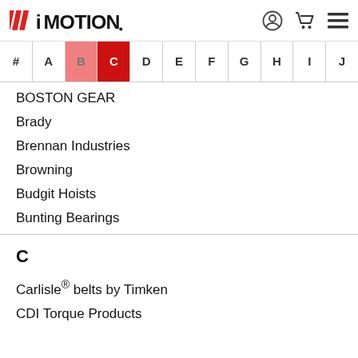iMOTION
#
A
B
C
D
E
F
G
H
I
J
BOSTON GEAR
Brady
Brennan Industries
Browning
Budgit Hoists
Bunting Bearings
C
Carlisle® belts by Timken
CDI Torque Products